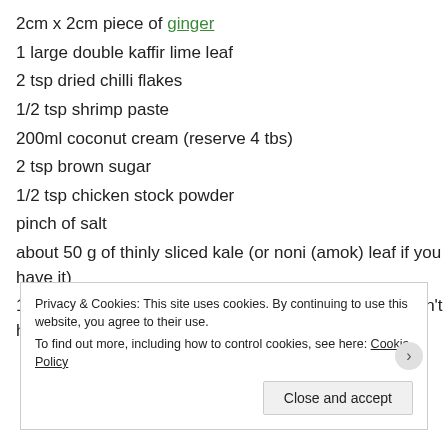2cm x 2cm piece of ginger
1 large double kaffir lime leaf
2 tsp dried chilli flakes
1/2 tsp shrimp paste
200ml coconut cream (reserve 4 tbs)
2 tsp brown sugar
1/2 tsp chicken stock powder
pinch of salt
about 50 g of thinly sliced kale (or noni (amok) leaf if you have it)
1/2 tsp of corn flour (or use rice flour like I did if you don’t have it)
Privacy & Cookies: This site uses cookies. By continuing to use this website, you agree to their use.
To find out more, including how to control cookies, see here: Cookie Policy